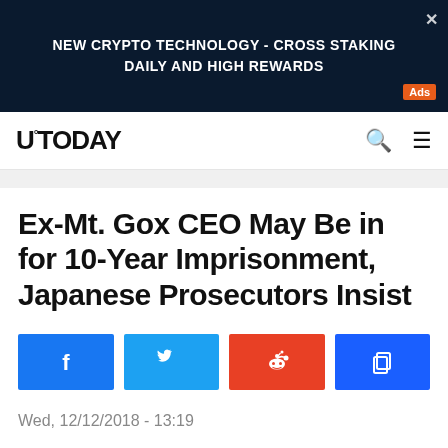[Figure (screenshot): Advertisement banner: dark blue background with text 'NEW CRYPTO TECHNOLOGY - CROSS STAKING DAILY AND HIGH REWARDS' and an orange 'Ads' badge]
U°TODAY
Ex-Mt. Gox CEO May Be in for 10-Year Imprisonment, Japanese Prosecutors Insist
[Figure (infographic): Social sharing buttons: Facebook (blue), Twitter (light blue), Reddit (orange-red), Copy/share (blue)]
Wed, 12/12/2018 - 13:19